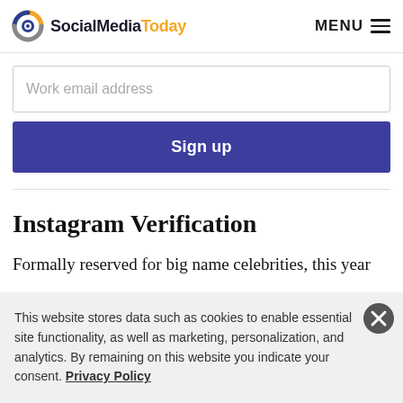SocialMediaToday MENU
Work email address
Sign up
Instagram Verification
Formally reserved for big name celebrities, this year
This website stores data such as cookies to enable essential site functionality, as well as marketing, personalization, and analytics. By remaining on this website you indicate your consent. Privacy Policy